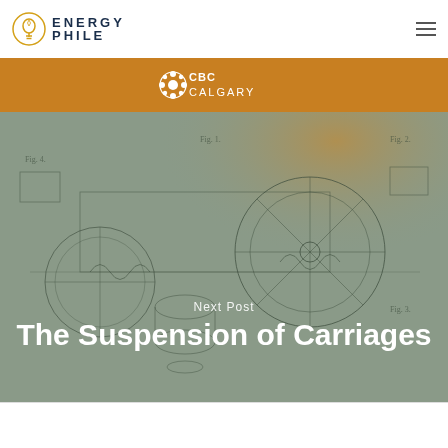ENERGY PHILE
[Figure (screenshot): CBC Calgary logo banner with orange glow background]
[Figure (engineering-diagram): Vintage carriage suspension engineering blueprint drawing in grey tones with technical line drawings of carriage components]
Next Post
The Suspension of Carriages